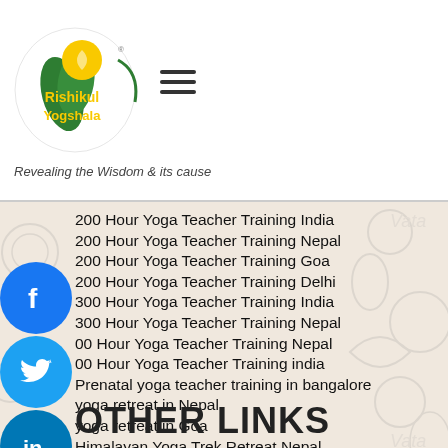[Figure (logo): Rishikul Yogshala logo with green leaf and yellow sun design, tagline: Revealing the Wisdom & its cause]
200 Hour Yoga Teacher Training India
200 Hour Yoga Teacher Training Nepal
200 Hour Yoga Teacher Training Goa
200 Hour Yoga Teacher Training Delhi
300 Hour Yoga Teacher Training India
300 Hour Yoga Teacher Training Nepal
00 Hour Yoga Teacher Training Nepal
00 Hour Yoga Teacher Training india
Prenatal yoga teacher training in bangalore
yoga retreat in Nepal
yoga retreat in Goa
Himalayan Yoga Trek Retreat Nepal
Annapurna base Camp Yoga Trek
OTHER LINKS